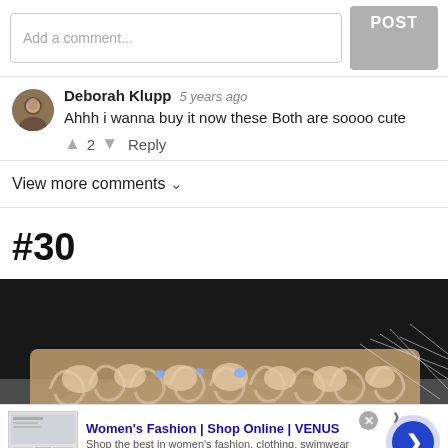Add a comment...
Deborah Klupp  5 years ago
Ahhh i wanna buy it now these Both are soooo cute
↑ 2 ↓  Reply
View more comments ∨
#30
[Figure (photo): Close-up photo of a decorative silver crown or tiara with curled scroll-work details and crystal embellishments, placed on what appears to be a gray horse's head with white mane visible.]
Women's Fashion | Shop Online | VENUS
Shop the best in women's fashion, clothing, swimwear
venus.com